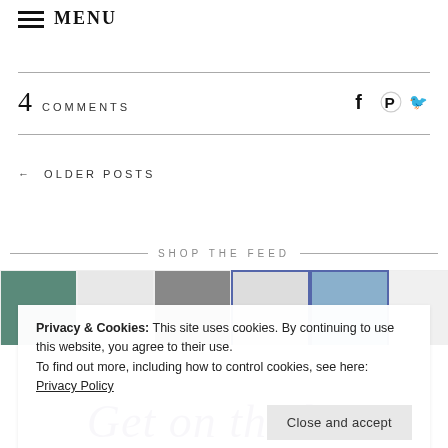MENU
4 COMMENTS
← OLDER POSTS
SHOP THE FEED
[Figure (photo): A strip of thumbnail photos showing people and food items in a lifestyle blog feed]
Privacy & Cookies: This site uses cookies. By continuing to use this website, you agree to their use.
To find out more, including how to control cookies, see here:
Privacy Policy
Close and accept
Get on the list